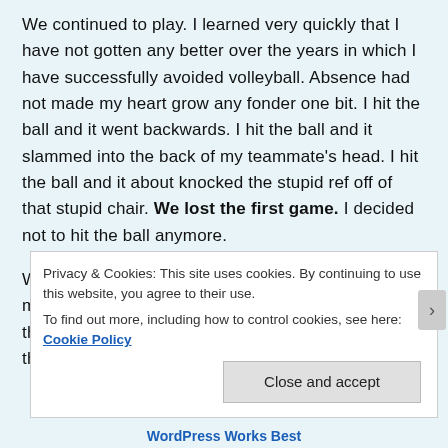We continued to play. I learned very quickly that I have not gotten any better over the years in which I have successfully avoided volleyball. Absence had not made my heart grow any fonder one bit. I hit the ball and it went backwards. I hit the ball and it slammed into the back of my teammate's head. I hit the ball and it about knocked the stupid ref off of that stupid chair. We lost the first game. I decided not to hit the ball anymore.
We switched sides. Because we had the absolute minimum number or girls, we all had to remain on the court the entire time. No subs for us. I know all the men were super thrilled by that rule.
Privacy & Cookies: This site uses cookies. By continuing to use this website, you agree to their use.
To find out more, including how to control cookies, see here: Cookie Policy
Close and accept
WordPress Works Best